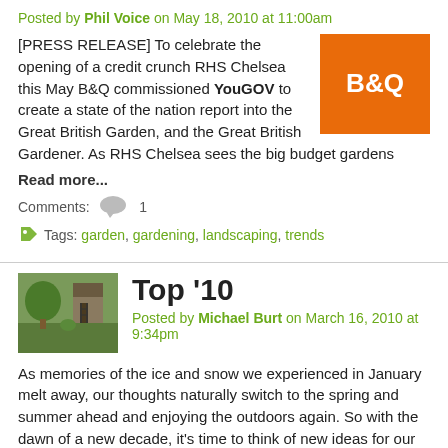Posted by Phil Voice on May 18, 2010 at 11:00am
[PRESS RELEASE] To celebrate the opening of a credit crunch RHS Chelsea this May B&Q commissioned YouGOV to create a state of the nation report into the Great British Garden, and the Great British Gardener. As RHS Chelsea sees the big budget gardens
[Figure (logo): B&Q orange logo with white text]
Read more...
Comments: 1
Tags: garden, gardening, landscaping, trends
Top '10
Posted by Michael Burt on March 16, 2010 at 9:34pm
As memories of the ice and snow we experienced in January melt away, our thoughts naturally switch to the spring and summer ahead and enjoying the outdoors again. So with the dawn of a new decade, it's time to think of new ideas for our gardens for 2
Read more...